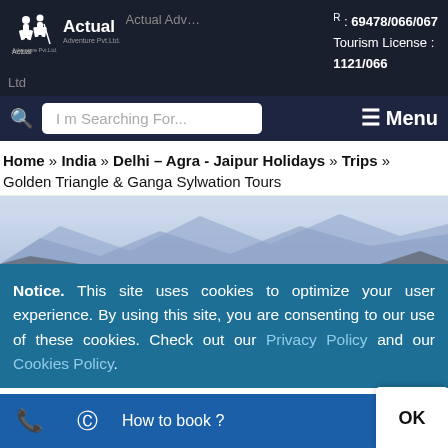Actual Adventure Pvt. Ltd. | R: 69478/066/067 | Tourism License: 1121/066
I m Searching For...
≡ Menu
Home » India » Delhi – Agra - Jaipur Holidays » Trips » Golden Triangle & Ganga Sylwation Tours
[Figure (photo): Mountain/landscape panorama banner image with hazy blue mountains in background]
Notice. This site uses cookies to optimize your user experience. By using this site, you are consenting to our use of these cookies. Check out our Privacy Policy and our Cookies Policy.
How to book? | OK